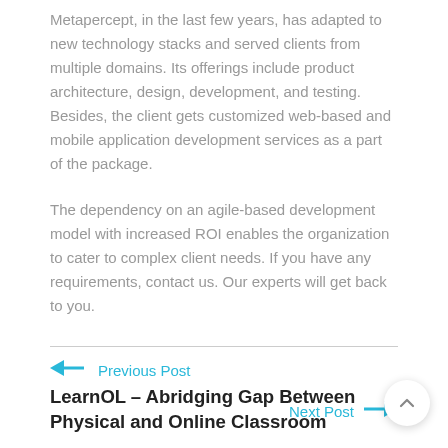Metapercept, in the last few years, has adapted to new technology stacks and served clients from multiple domains. Its offerings include product architecture, design, development, and testing. Besides, the client gets customized web-based and mobile application development services as a part of the package.
The dependency on an agile-based development model with increased ROI enables the organization to cater to complex client needs. If you have any requirements, contact us. Our experts will get back to you.
← Previous Post
LearnOL – Abridging Gap Between Physical and Online Classroom
Next Post →